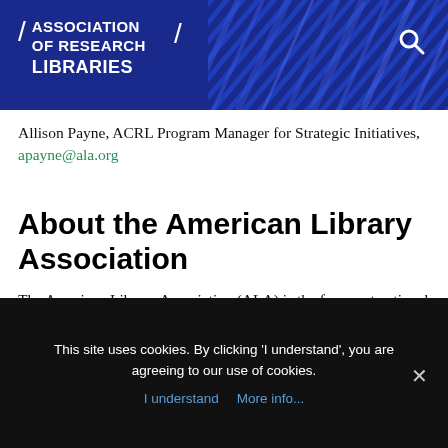ASSOCIATION OF RESEARCH LIBRARIES
Allison Payne, ACRL Program Manager for Strategic Initiatives, apayne@ala.org
About the American Library Association
The American Library Association (ALA) is the foremost national organization providing resources to inspire library and information professionals to transform their communities through essential
This site uses cookies. By clicking 'I understand', you are agreeing to our use of cookies. I understand More info...